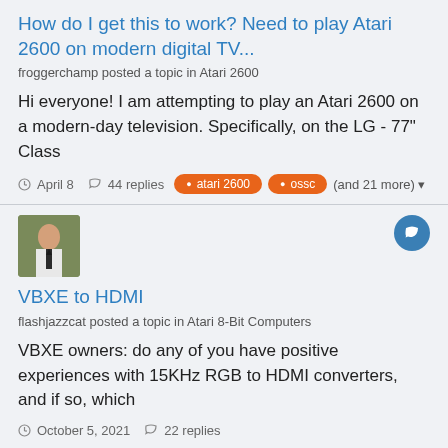How do I get this to work? Need to play Atari 2600 on modern digital TV...
froggerchamp posted a topic in Atari 2600
Hi everyone! I am attempting to play an Atari 2600 on a modern-day television. Specifically, on the LG - 77" Class
April 8  44 replies  atari 2600  ossc  (and 21 more)
VBXE to HDMI
flashjazzcat posted a topic in Atari 8-Bit Computers
VBXE owners: do any of you have positive experiences with 15KHz RGB to HDMI converters, and if so, which
October 5, 2021  22 replies  vbxe  15khz rgb  (and 3 more)